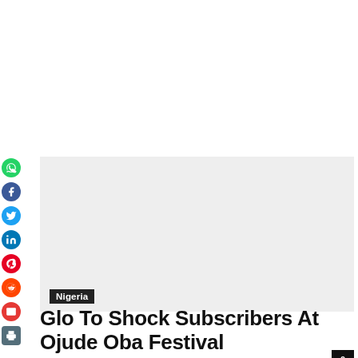[Figure (photo): Gray placeholder banner image for article about Glo Ojude Oba Festival]
Nigeria
Glo To Shock Subscribers At Ojude Oba Festival
Tayo Adelaja – July 30, 2019